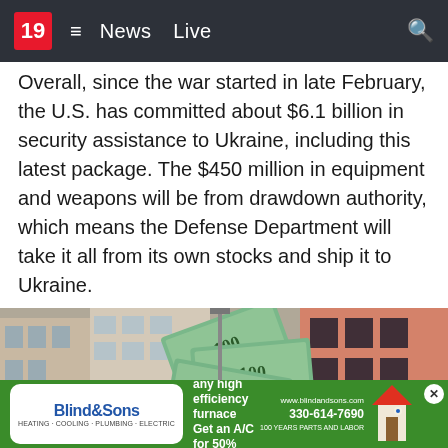19  ≡  News  Live
Overall, since the war started in late February, the U.S. has committed about $6.1 billion in security assistance to Ukraine, including this latest package. The $450 million in equipment and weapons will be from drawdown authority, which means the Defense Department will take it all from its own stocks and ship it to Ukraine.
Copyright 2022 The Associated Press. All rights reserved.
Taboola Feed
[Figure (photo): Street scene with cars and US dollar bills fanned out in the foreground, storefronts visible in the background]
[Figure (other): Blind & Sons advertisement banner: Purchase any high efficiency furnace, Get an A/C for 50% OFF, 330-614-7690]